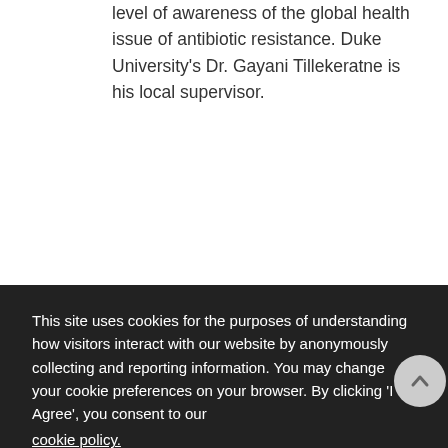level of awareness of the global health issue of antibiotic resistance. Duke University's Dr. Gayani Tillekeratne is his local supervisor.
This site uses cookies for the purposes of understanding how visitors interact with our website by anonymously collecting and reporting information. You may change your cookie preferences on your browser. By clicking 'I Agree', you consent to our cookie policy.
I agree
Partially visible article text behind cookie overlay